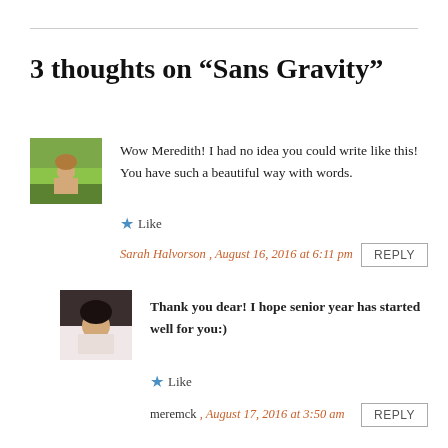3 thoughts on “Sans Gravity”
[Figure (photo): Thumbnail avatar of person in a field of yellow flowers]
Wow Meredith! I had no idea you could write like this! You have such a beautiful way with words.
★ Like
Sarah Halvorson , August 16, 2016 at 6:11 pm
REPLY
[Figure (photo): Thumbnail avatar of a woman with dark hair]
Thank you dear! I hope senior year has started well for you:)
★ Like
meremck , August 17, 2016 at 3:50 am
REPLY